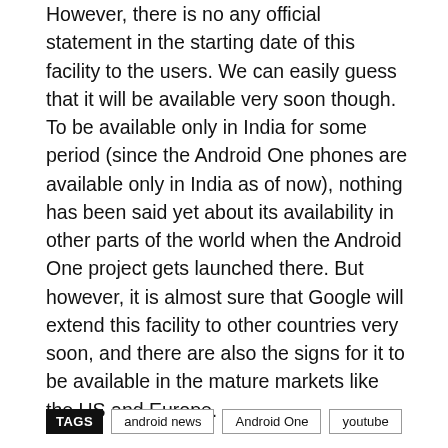However, there is no any official statement in the starting date of this facility to the users. We can easily guess that it will be available very soon though. To be available only in India for some period (since the Android One phones are available only in India as of now), nothing has been said yet about its availability in other parts of the world when the Android One project gets launched there. But however, it is almost sure that Google will extend this facility to other countries very soon, and there are also the signs for it to be available in the mature markets like the US and Europe.
Do you like this new facility by Google of YouTube to be available offline to Android One users? What do you think about it?
TAGS  android news  Android One  youtube